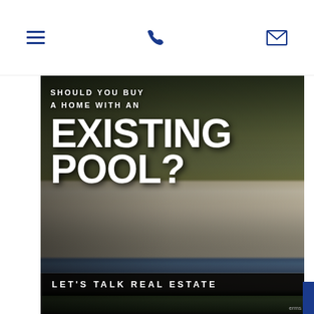[hamburger menu] [phone icon] [envelope icon]
[Figure (photo): Luxury home with pool and outdoor patio area, dark overlay with text overlay reading 'Should you buy a home with an EXISTING POOL?']
SHOULD YOU BUY A HOME WITH AN EXISTING POOL?
LET'S TALK REAL ESTATE